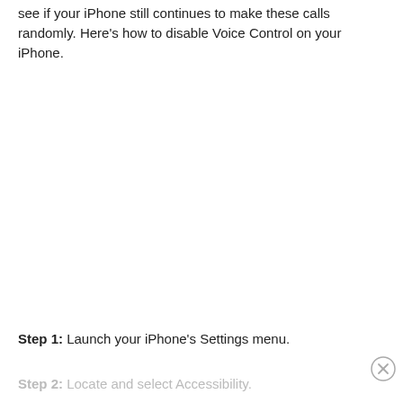see if your iPhone still continues to make these calls randomly. Here’s how to disable Voice Control on your iPhone.
Step 1: Launch your iPhone’s Settings menu.
Step 2: Locate and select Accessibility.